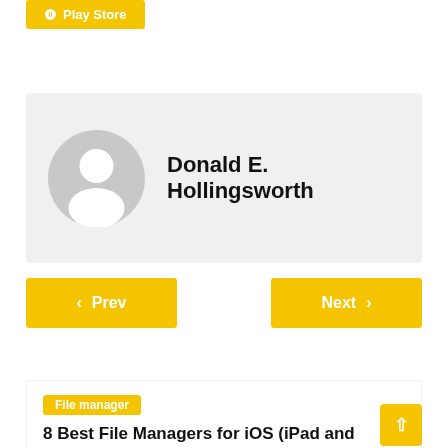Play Store
[Figure (illustration): Author profile card with grey avatar icon and name Donald E. Hollingsworth]
Donald E. Hollingsworth
< Prev
Next >
File manager
8 Best File Managers for iOS (iPad and...